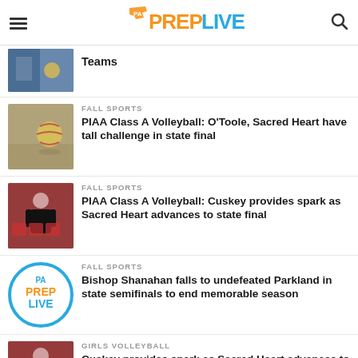PA PREP LIVE
Teams
FALL SPORTS
PIAA Class A Volleyball: O'Toole, Sacred Heart have tall challenge in state final
FALL SPORTS
PIAA Class A Volleyball: Cuskey provides spark as Sacred Heart advances to state final
FALL SPORTS
Bishop Shanahan falls to undefeated Parkland in state semifinals to end memorable season
GIRLS VOLLEYBALL
Cuskey provides spark as Sacred Heart advances to PIAA final